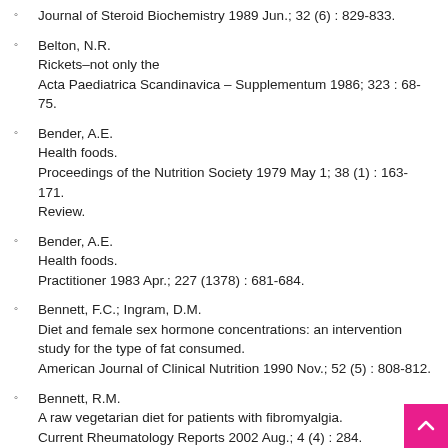Journal of Steroid Biochemistry 1989 Jun.; 32 (6) : 829-833.
Belton, N.R.
Rickets–not only the
Acta Paediatrica Scandinavica – Supplementum 1986; 323 : 68-75.
Bender, A.E.
Health foods.
Proceedings of the Nutrition Society 1979 May 1; 38 (1) : 163-171.
Review.
Bender, A.E.
Health foods.
Practitioner 1983 Apr.; 227 (1378) : 681-684.
Bennett, F.C.; Ingram, D.M.
Diet and female sex hormone concentrations: an intervention study for the type of fat consumed.
American Journal of Clinical Nutrition 1990 Nov.; 52 (5) : 808-812.
Bennett, R.M.
A raw vegetarian diet for patients with fibromyalgia.
Current Rheumatology Reports 2002 Aug.; 4 (4) : 284.
Berdonces, J.L.
Revista de Enfermeria 2001 May; 24 (7) : 171-174. [Spanish]